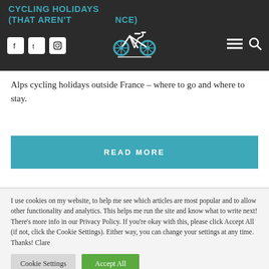CYCLING HOLIDAYS (THAT AREN'T FRANCE)
[Figure (logo): Bicycle logo icon in teal/white on dark background header]
Alps cycling holidays outside France – where to go and where to stay.
READ MORE
I use cookies on my website, to help me see which articles are most popular and to allow other functionality and analytics. This helps me run the site and know what to write next! There's more info in our Privacy Policy. If you're okay with this, please click Accept All (if not, click the Cookie Settings). Either way, you can change your settings at any time. Thanks! Clare
Cookie Settings | Accept All